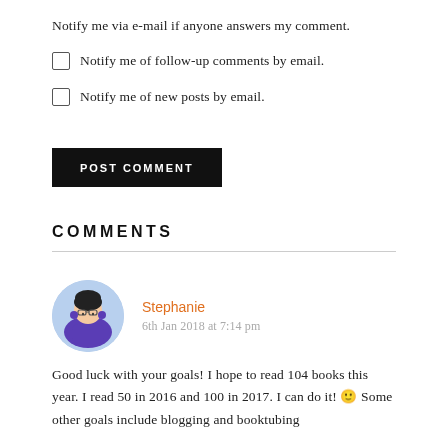Notify me via e-mail if anyone answers my comment.
Notify me of follow-up comments by email.
Notify me of new posts by email.
POST COMMENT
COMMENTS
Stephanie
6th Jan 2018 at 7:14 pm
Good luck with your goals! I hope to read 104 books this year. I read 50 in 2016 and 100 in 2017. I can do it! 🙂 Some other goals include blogging and booktubing